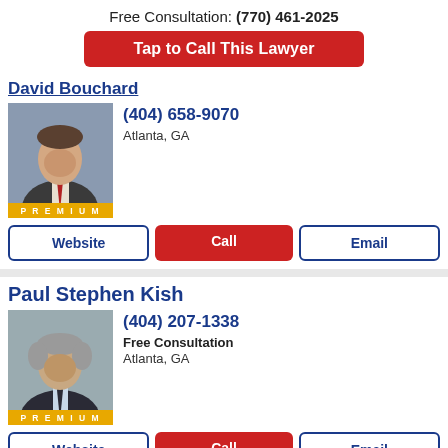Free Consultation: (770) 461-2025
Tap to Call This Lawyer
David Bouchard
[Figure (photo): Professional photo of David Bouchard wearing suit and red tie]
(404) 658-9070
Atlanta, GA
Website | Call | Email
Paul Stephen Kish
[Figure (photo): Professional photo of Paul Stephen Kish wearing dark suit]
(404) 207-1338
Free Consultation
Atlanta, GA
Website | Call | Email